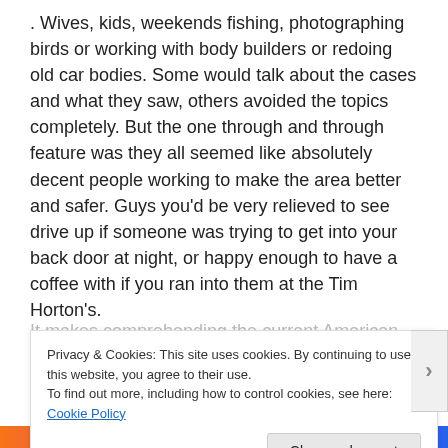. Wives, kids, weekends fishing, photographing birds or working with body builders or redoing old car bodies. Some would talk about the cases and what they saw, others avoided the topics completely. But the one through and through feature was they all seemed like absolutely decent people working to make the area better and safer. Guys you'd be very relieved to see drive up if someone was trying to get into your back door at night, or happy enough to have a coffee with if you ran into them at the Tim Horton's.
It makes comprehending the current American
Privacy & Cookies: This site uses cookies. By continuing to use this website, you agree to their use.
To find out more, including how to control cookies, see here: Cookie Policy